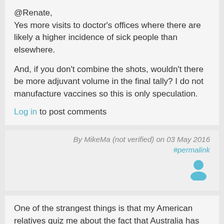@Renate,
Yes more visits to doctor's offices where there are likely a higher incidence of sick people than elsewhere.

And, if you don't combine the shots, wouldn't there be more adjuvant volume in the final tally? I do not manufacture vaccines so this is only speculation.
Log in to post comments
By MikeMa (not verified) on 03 May 2016
#permalink
[Figure (illustration): User avatar icon - blue person silhouette]
One of the strangest things is that my American relatives quiz me about the fact that Australia has had 5 Prime Ministers in 6 years (in truth it is 5 in 9 years) as if this is some sort of problem. If Trump is elected, you will be saddled with him for 4 years with no turning back.